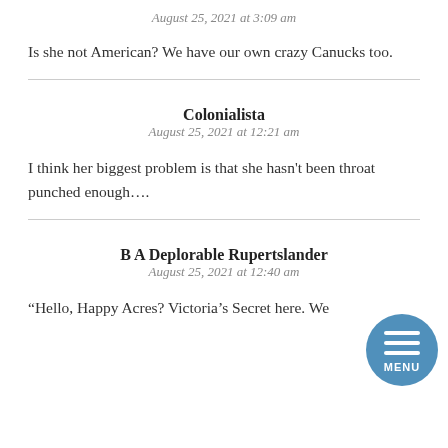August 25, 2021 at 3:09 am
Is she not American? We have our own crazy Canucks too.
Colonialista
August 25, 2021 at 12:21 am
I think her biggest problem is that she hasn't been throat punched enough....
B A Deplorable Rupertslander
August 25, 2021 at 12:40 am
“Hello, Happy Acres? Victoria’s Secret here. We